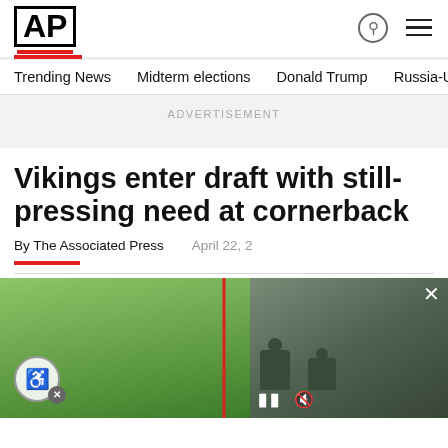AP
Trending News    Midterm elections    Donald Trump    Russia-Ukr
ADVERTISEMENT
Vikings enter draft with still-pressing need at cornerback
By The Associated Press    April 22, 2
[Figure (screenshot): AP News website screenshot showing article about Vikings entering draft with need at cornerback, with a video overlay of soldiers in background]
[Figure (photo): Partial photo of a football player on green grass field, with an accessibility button overlay]